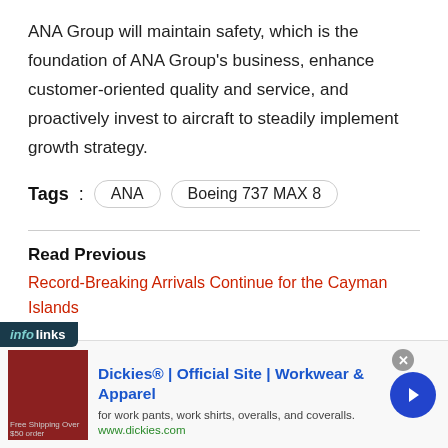ANA Group will maintain safety, which is the foundation of ANA Group’s business, enhance customer-oriented quality and service, and proactively invest to aircraft to steadily implement growth strategy.
Tags : ANA  Boeing 737 MAX 8
Read Previous
Record-Breaking Arrivals Continue for the Cayman Islands
[Figure (screenshot): Infolinks overlay bar and Dickies advertisement banner at the bottom of the page. Ad shows: Dickies® | Official Site | Workwear & Apparel, for work pants, work shirts, overalls, and coveralls. www.dickies.com]